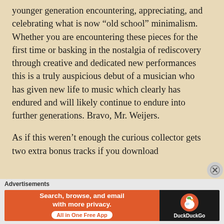younger generation encountering, appreciating, and celebrating what is now “old school” minimalism. Whether you are encountering these pieces for the first time or basking in the nostalgia of rediscovery through creative and dedicated new performances this is a truly auspicious debut of a musician who has given new life to music which clearly has endured and will likely continue to endure into further generations. Bravo, Mr. Weijers.
As if this weren’t enough the curious collector gets two extra bonus tracks if you download
Advertisements
[Figure (other): DuckDuckGo advertisement banner: orange section with text 'Search, browse, and email with more privacy. All in One Free App' and dark section with DuckDuckGo duck logo and brand name.]